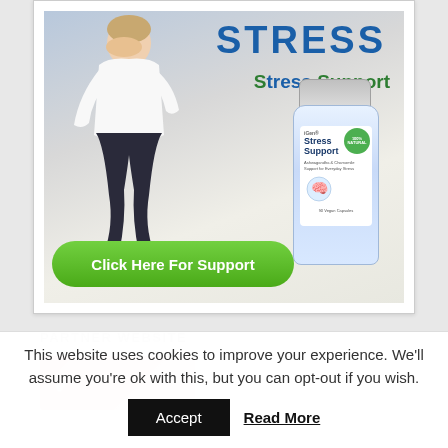[Figure (illustration): Advertisement banner for 'Stress Support' supplement. Shows a man in white shirt sitting on floor with head in hands (stressed posture), a bottle of Stress Support supplement, bold blue text 'STRESS', green text 'Stress Support', and a green call-to-action button 'Click Here For Support'.]
PARTNER WEBSITE
[Figure (illustration): Partially visible pink/coral colored partner website banner image with a white symbol/checkmark.]
This website uses cookies to improve your experience. We'll assume you're ok with this, but you can opt-out if you wish.
Accept
Read More